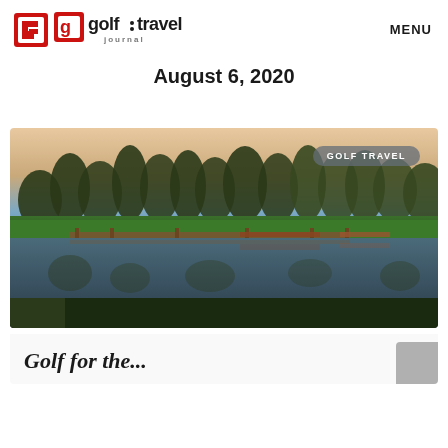golf travel journal | MENU
August 6, 2020
[Figure (photo): Golf course at dusk with trees reflecting in a still pond/water hazard, warm sunset sky]
GOLF TRAVEL
Golf for the...